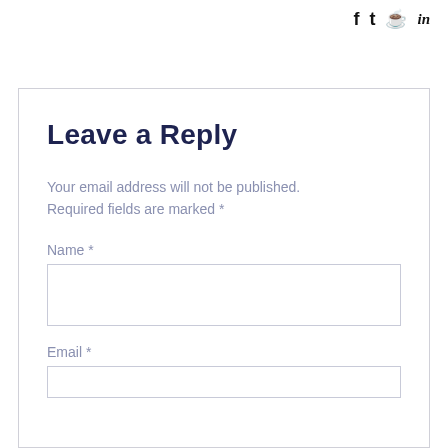f  🐦  𝗽  in
Leave a Reply
Your email address will not be published. Required fields are marked *
Name *
Email *